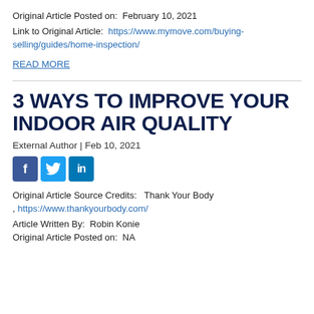Original Article Posted on:  February 10, 2021
Link to Original Article:  https://www.mymove.com/buying-selling/guides/home-inspection/
READ MORE
3 WAYS TO IMPROVE YOUR INDOOR AIR QUALITY
External Author | Feb 10, 2021
[Figure (other): Social media sharing icons: Facebook, Twitter, LinkedIn]
Original Article Source Credits:   Thank Your Body , https://www.thankyourbody.com/
Article Written By:  Robin Konie
Original Article Posted on:  NA